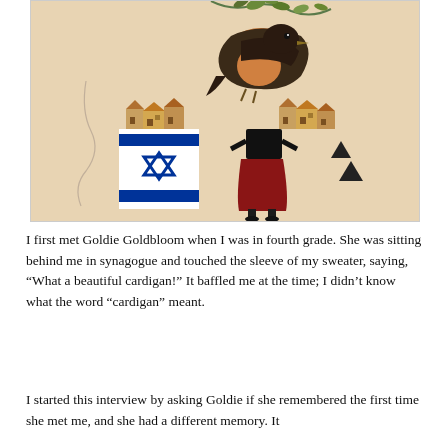[Figure (illustration): A surrealist collage artwork on a light beige/peach background. Features a large bird (robin or thrush) at the top perched on a branch with leaves, a row of small stylized buildings/houses in the middle, an Israeli flag (white with blue stripes and Star of David) on the left, a headless woman figure wearing a black top and red skirt with black shoes, geometric black triangles on the right, and a hand-drawn squiggly line on the left side.]
I first met Goldie Goldbloom when I was in fourth grade. She was sitting behind me in synagogue and touched the sleeve of my sweater, saying, “What a beautiful cardigan!” It baffled me at the time; I didn’t know what the word “cardigan” meant.
I started this interview by asking Goldie if she remembered the first time she met me, and she had a different memory. It